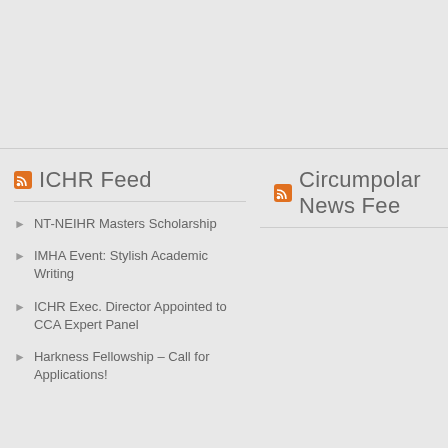ICHR Feed
Circumpolar News Fee
NT-NEIHR Masters Scholarship
IMHA Event: Stylish Academic Writing
ICHR Exec. Director Appointed to CCA Expert Panel
Harkness Fellowship – Call for Applications!